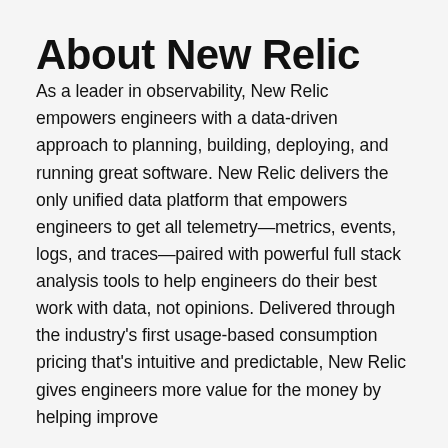About New Relic
As a leader in observability, New Relic empowers engineers with a data-driven approach to planning, building, deploying, and running great software. New Relic delivers the only unified data platform that empowers engineers to get all telemetry—metrics, events, logs, and traces—paired with powerful full stack analysis tools to help engineers do their best work with data, not opinions. Delivered through the industry's first usage-based consumption pricing that's intuitive and predictable, New Relic gives engineers more value for the money by helping improve